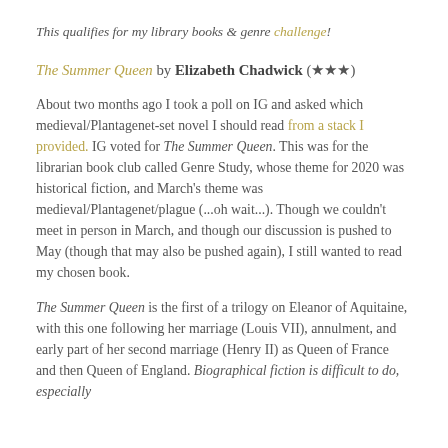This qualifies for my library books & genre challenge!
The Summer Queen by Elizabeth Chadwick (★★★)
About two months ago I took a poll on IG and asked which medieval/Plantagenet-set novel I should read from a stack I provided. IG voted for The Summer Queen. This was for the librarian book club called Genre Study, whose theme for 2020 was historical fiction, and March's theme was medieval/Plantagenet/plague (...oh wait...). Though we couldn't meet in person in March, and though our discussion is pushed to May (though that may also be pushed again), I still wanted to read my chosen book.
The Summer Queen is the first of a trilogy on Eleanor of Aquitaine, with this one following her marriage (Louis VII), annulment, and early part of her second marriage (Henry II) as Queen of France and then Queen of England. Biographical fiction is difficult to do, especially